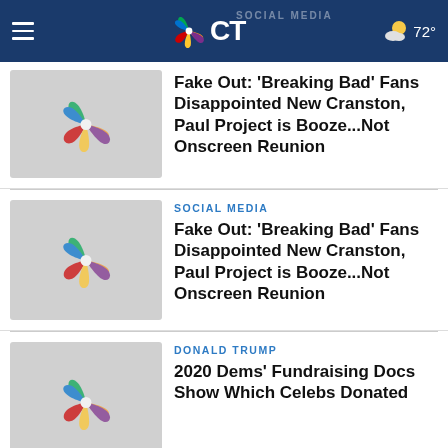NBC CT — SOCIAL MEDIA — 72°
[Figure (screenshot): NBC peacock logo placeholder thumbnail for first article (partially visible)]
Fake Out: 'Breaking Bad' Fans Disappointed New Cranston, Paul Project is Booze...Not Onscreen Reunion
[Figure (screenshot): NBC peacock logo placeholder thumbnail for second article]
SOCIAL MEDIA
Fake Out: 'Breaking Bad' Fans Disappointed New Cranston, Paul Project is Booze...Not Onscreen Reunion
[Figure (screenshot): NBC peacock logo placeholder thumbnail for third article]
DONALD TRUMP
2020 Dems' Fundraising Docs Show Which Celebs Donated